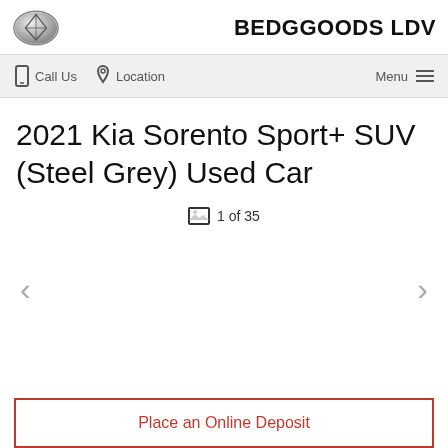[Figure (logo): LDV/Bedggoods LDV logo — silver diamond/shield emblem on left, brand name BEDGGOODS LDV on right]
Call Us   Location   Menu
2021 Kia Sorento Sport+ SUV (Steel Grey) Used Car
1 of 35
Place an Online Deposit